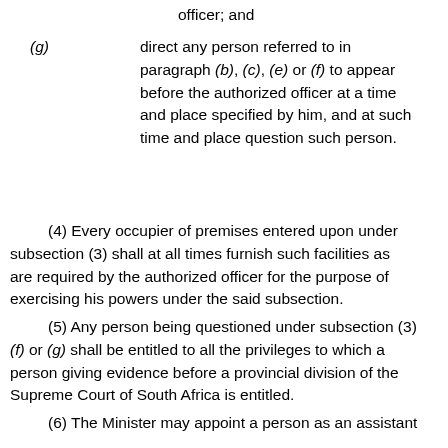officer; and
(g) direct any person referred to in paragraph (b), (c), (e) or (f) to appear before the authorized officer at a time and place specified by him, and at such time and place question such person.
(4) Every occupier of premises entered upon under subsection (3) shall at all times furnish such facilities as are required by the authorized officer for the purpose of exercising his powers under the said subsection.
(5) Any person being questioned under subsection (3) (f) or (g) shall be entitled to all the privileges to which a person giving evidence before a provincial division of the Supreme Court of South Africa is entitled.
(6) The Minister may appoint a person as an assistant